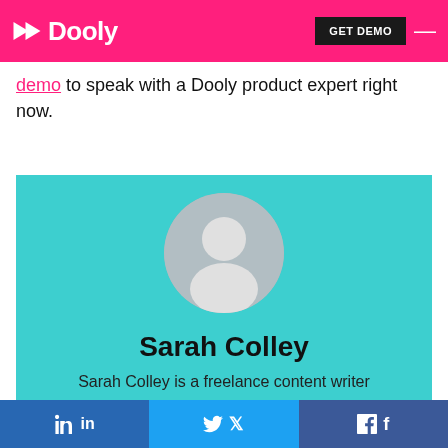Dooly | GET DEMO
demo to speak with a Dooly product expert right now.
[Figure (illustration): Author profile card with teal background, generic avatar placeholder, name Sarah Colley, and partial bio text]
Sarah Colley
Sarah Colley is a freelance content writer
[Figure (infographic): Social share buttons: LinkedIn, Twitter, Facebook]